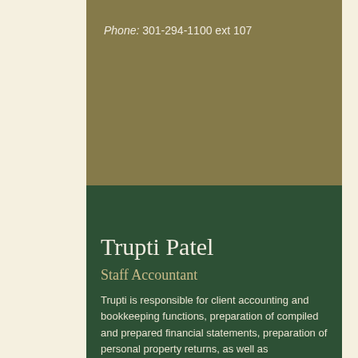Phone: 301-294-1100 ext 107
Trupti Patel
Staff Accountant
Trupti is responsible for client accounting and bookkeeping functions, preparation of compiled and prepared financial statements, preparation of personal property returns, as well as administration of client payroll. Prior to joining the firm, Trupti managed the internal accounting department at a mid sized law firm for over 23 years.